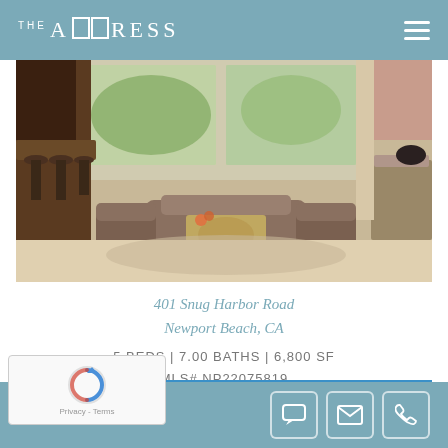THE ADDRESS
[Figure (photo): Interior photo of a luxury living room with open kitchen, bar stools, modern furniture, large windows with garden view]
401 Snug Harbor Road
Newport Beach, CA
5 BEDS | 7.00 BATHS | 6,800 SF
MLS# NP22075819
Active $ 7,800,000
[Figure (photo): Partial exterior/pool area photo strip with blue sky and water]
Chat